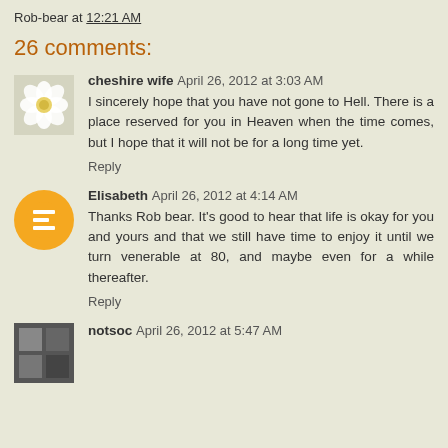Rob-bear at 12:21 AM
26 comments:
cheshire wife  April 26, 2012 at 3:03 AM
I sincerely hope that you have not gone to Hell. There is a place reserved for you in Heaven when the time comes, but I hope that it will not be for a long time yet.
Reply
Elisabeth  April 26, 2012 at 4:14 AM
Thanks Rob bear. It's good to hear that life is okay for you and yours and that we still have time to enjoy it until we turn venerable at 80, and maybe even for a while thereafter.
Reply
notsoc  April 26, 2012 at 5:47 AM